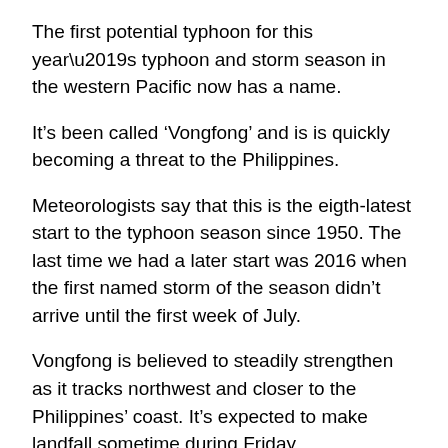The first potential typhoon for this year’s typhoon and storm season in the western Pacific now has a name.
It’s been called ‘Vongfong’ and is is quickly becoming a threat to the Philippines.
Meteorologists say that this is the eigth-latest start to the typhoon season since 1950. The last time we had a later start was 2016 when the first named storm of the season didn’t arrive until the first week of July.
Vongfong is believed to steadily strengthen as it tracks northwest and closer to the Philippines’ coast. It’s expected to make landfall sometime during Friday.
Thieving monkey safely caught in Chon Buri